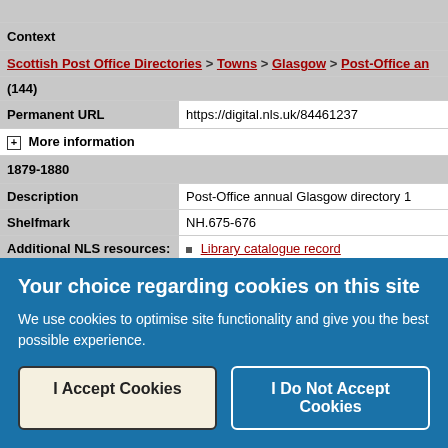| Context |  |
| Scottish Post Office Directories > Towns > Glasgow > Post-Office ann... |  |
| (144) |  |
| Permanent URL | https://digital.nls.uk/84461237 |
| ⊞ More information |  |
| 1879-1880 |  |
| Description | Post-Office annual Glasgow directory 1... |
| Shelfmark | NH.675-676 |
| Additional NLS resources: | Library catalogue record |
| Attribution and copyright: | The physical item used to create this... |
| ⊞ More information |  |
| 1828-1912 - Post-Office annual Glasgow directory |  |
Your choice regarding cookies on this site
We use cookies to optimise site functionality and give you the best possible experience.
I Accept Cookies
I Do Not Accept Cookies